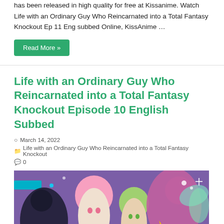has been released in high quality for free at Kissanime. Watch Life with an Ordinary Guy Who Reincarnated into a Total Fantasy Knockout Ep 11 Eng subbed Online, KissAnime …
Read More »
Life with an Ordinary Guy Who Reincarnated into a Total Fantasy Knockout Episode 10 English Subbed
March 14, 2022
Life with an Ordinary Guy Who Reincarnated into a Total Fantasy Knockout
0
[Figure (illustration): Anime key art showing multiple colorful anime characters including girls with blonde, pink, and green hair in fantasy outfits against a purple and teal background]